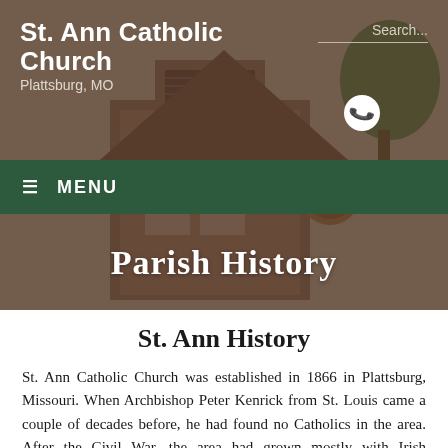St. Ann Catholic Church
Plattsburg, MO
[Figure (photo): Sepia-toned photograph of St. Ann Catholic Church building with Gothic arched windows, a bell tower with louvered vents, and a circular window, overlaid with dark brownish tint]
Parish History
St. Ann History
St. Ann Catholic Church was established in 1866 in Plattsburg, Missouri. When Archbishop Peter Kenrick from St. Louis came a couple of decades before, he had found no Catholics in the area. After the Civil War, the area had grown mostly with Irish immigrants to the point where a small parish could be established. The first building constructed